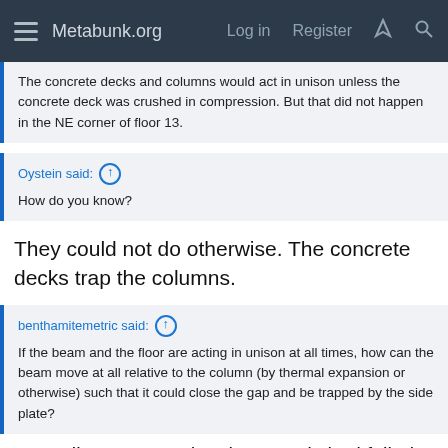Metabunk.org  Log in  Register
The concrete decks and columns would act in unison unless the concrete deck was crushed in compression. But that did not happen in the NE corner of floor 13.
Oystein said: ↑
How do you know?
They could not do otherwise. The concrete decks trap the columns.
benthamitemetric said: ↑
If the beam and the floor are acting in unison at all times, how can the beam move at all relative to the column (by thermal expansion or otherwise) such that it could close the gap and be trapped by the side plate?
According to NIST, the shear studs had failed on the floor beams, allowing them to move independently of the slab. And, according to NIST, there were no shear studs on the girders so A2001 could also move independently of the slab.